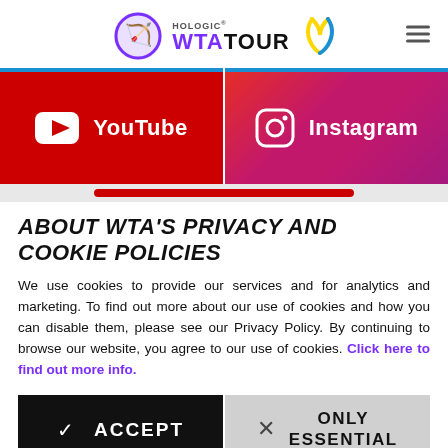Hologic WTA Tour
[Figure (logo): Hologic WTA Tour logo with purple archer icon and yellow-blue ribbon, plus hamburger menu icon]
[Figure (infographic): Two social media buttons: YouTube (red background) and Instagram (red-to-purple gradient), side by side]
ABOUT WTA'S PRIVACY AND COOKIE POLICIES
We use cookies to provide our services and for analytics and marketing. To find out more about our use of cookies and how you can disable them, please see our Privacy Policy. By continuing to browse our website, you agree to our use of cookies. Click here to find out more info.
[Figure (infographic): Two buttons: black ACCEPT button with checkmark and grey ONLY ESSENTIAL button with X mark]